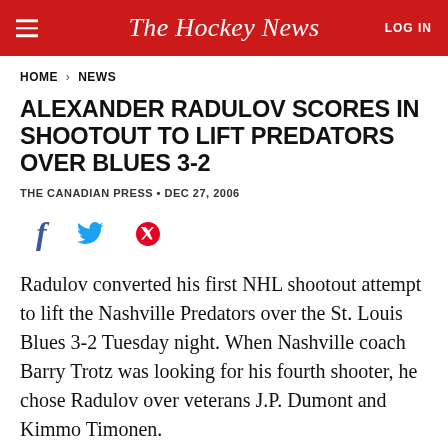The Hockey News
HOME > NEWS
ALEXANDER RADULOV SCORES IN SHOOTOUT TO LIFT PREDATORS OVER BLUES 3-2
THE CANADIAN PRESS • DEC 27, 2006
[Figure (other): Social sharing icons: Facebook, Twitter, Pinterest]
Radulov converted his first NHL shootout attempt to lift the Nashville Predators over the St. Louis Blues 3-2 Tuesday night. When Nashville coach Barry Trotz was looking for his fourth shooter, he chose Radulov over veterans J.P. Dumont and Kimmo Timonen.